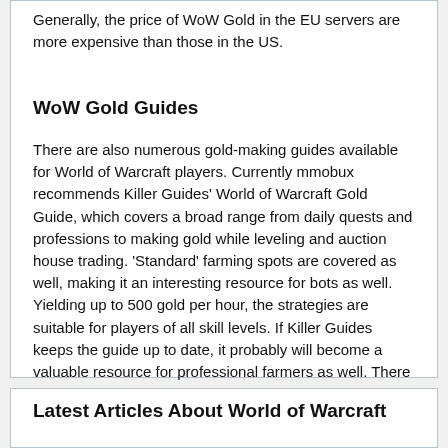Generally, the price of WoW Gold in the EU servers are more expensive than those in the US.
WoW Gold Guides
There are also numerous gold-making guides available for World of Warcraft players. Currently mmobux recommends Killer Guides' World of Warcraft Gold Guide, which covers a broad range from daily quests and professions to making gold while leveling and auction house trading. 'Standard' farming spots are covered as well, making it an interesting resource for bots as well. Yielding up to 500 gold per hour, the strategies are suitable for players of all skill levels. If Killer Guides keeps the guide up to date, it probably will become a valuable resource for professional farmers as well. There also seems to be a German-language version available: WoW Gold Guide (German)
Latest Articles About World of Warcraft